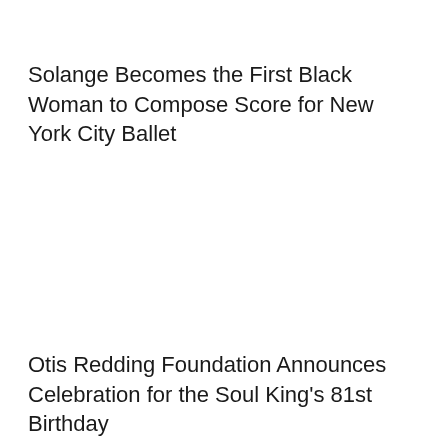Solange Becomes the First Black Woman to Compose Score for New York City Ballet
Otis Redding Foundation Announces Celebration for the Soul King's 81st Birthday